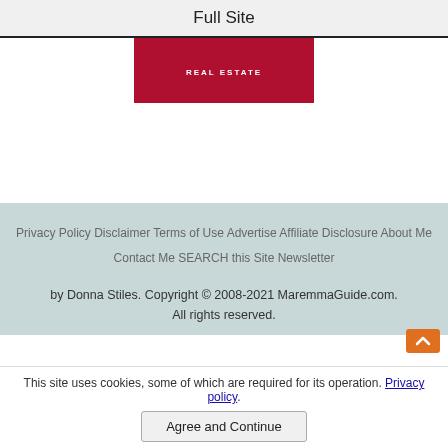Full Site
[Figure (logo): Red real estate logo box with text REAL ESTATE in white]
Privacy Policy   Disclaimer   Terms of Use   Advertise   Affiliate Disclosure   About Me   Contact Me   SEARCH this Site   Newsletter

by Donna Stiles. Copyright © 2008-2021 MaremmaGuide.com. All rights reserved.
This site uses cookies, some of which are required for its operation. Privacy policy.
Agree and Continue